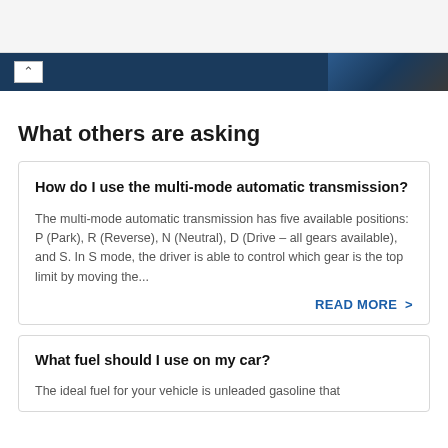What others are asking
How do I use the multi-mode automatic transmission?
The multi-mode automatic transmission has five available positions: P (Park), R (Reverse), N (Neutral), D (Drive – all gears available), and S. In S mode, the driver is able to control which gear is the top limit by moving the...
READ MORE >
What fuel should I use on my car?
The ideal fuel for your vehicle is unleaded gasoline that